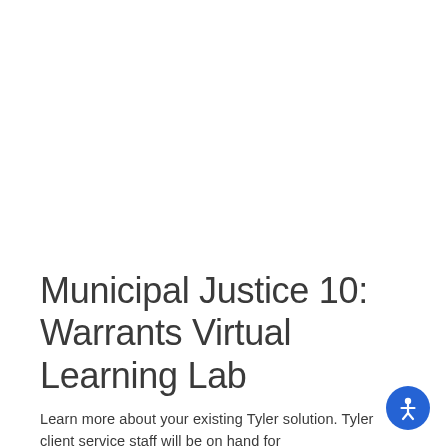Municipal Justice 10: Warrants Virtual Learning Lab
Learn more about your existing Tyler solution. Tyler client service staff will be on hand for